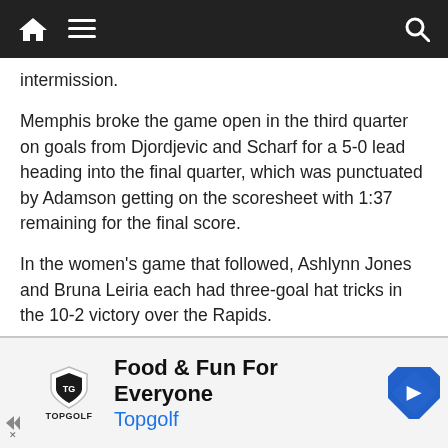Navigation bar with home, menu, and search icons
intermission.
Memphis broke the game open in the third quarter on goals from Djordjevic and Scharf for a 5-0 lead heading into the final quarter, which was punctuated by Adamson getting on the scoresheet with 1:37 remaining for the final score.
In the women’s game that followed, Ashlynn Jones and Bruna Leiria each had three-goal hat tricks in the 10-2 victory over the Rapids.
…ir technical ability is unmatched. Their physical
[Figure (infographic): Advertisement banner for Topgolf: Food & Fun For Everyone with Topgolf logo, navigation arrow icon, and skip controls]